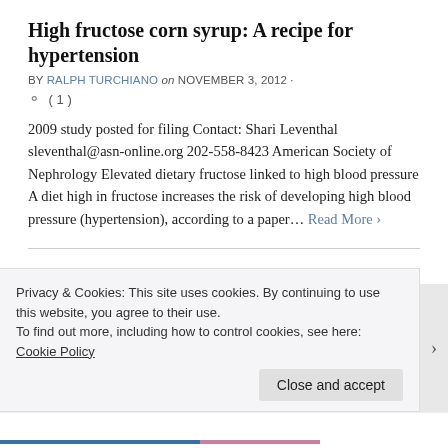High fructose corn syrup: A recipe for hypertension
BY RALPH TURCHIANO on NOVEMBER 3, 2012 · ○ ( 1 )
2009 study posted for filing Contact: Shari Leventhal sleventhal@asn-online.org 202-558-8423 American Society of Nephrology Elevated dietary fructose linked to high blood pressure A diet high in fructose increases the risk of developing high blood pressure (hypertension), according to a paper… Read More ›
More pregnant women taking high blood pressure drugs, yet safety unclear
BY RALPH TURCHIANO on SEPTEMBER 14, 2012 ·
Privacy & Cookies: This site uses cookies. By continuing to use this website, you agree to their use.
To find out more, including how to control cookies, see here: Cookie Policy
Close and accept